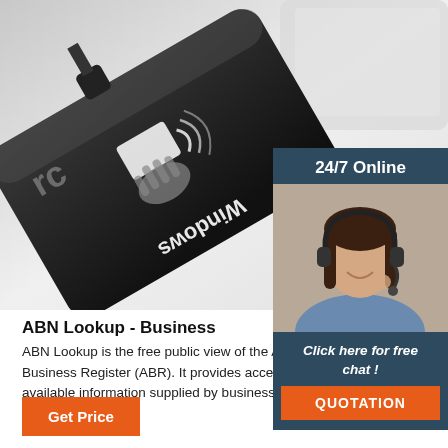[Figure (photo): NFC/RFID USB card reader device (black) with contactless card icon and 'Windows' text, placed on a light gray surface with a laptop partially visible]
[Figure (infographic): 24/7 Online chat widget with woman wearing headset, 'Click here for free chat!' text, and orange QUOTATION button]
ABN Lookup - Business
ABN Lookup is the free public view of the Australian Business Register (ABR). It provides access to publicly available information supplied by businesses when …
[Figure (infographic): Orange 'TOP' text with dots above it forming an upward arrow, indicating scroll to top]
Get Price